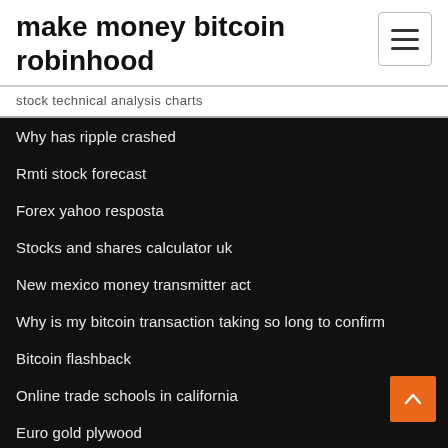make money bitcoin robinhood
stock technical analysis charts
Why has ripple crashed
Rmti stock forecast
Forex yahoo resposta
Stocks and shares calculator uk
New mexico money transmitter act
Why is my bitcoin transaction taking so long to confirm
Bitcoin flashback
Online trade schools in california
Euro gold plywood
Forex sessions in nigeria time